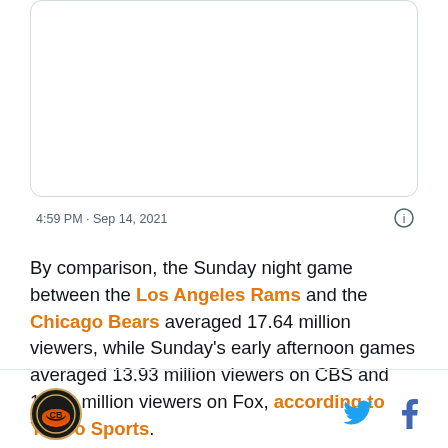[Figure (screenshot): Embedded tweet preview card with white background and rounded border]
4:59 PM · Sep 14, 2021
By comparison, the Sunday night game between the Los Angeles Rams and the Chicago Bears averaged 17.64 million viewers, while Sunday's early afternoon games averaged 13.93 million viewers on CBS and 11.18 million viewers on Fox, according to Yahoo Sports.
[Figure (logo): Cleveland Browns circular logo]
[Figure (illustration): Twitter bird icon and Facebook f icon for social sharing]